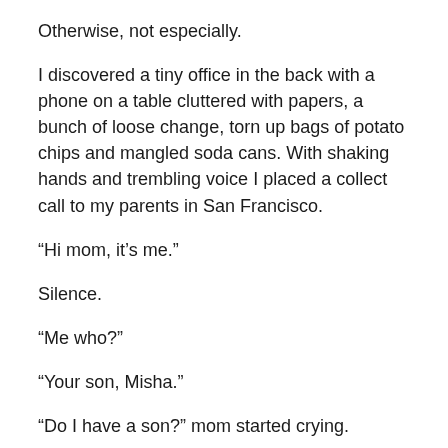Otherwise, not especially.
I discovered a tiny office in the back with a phone on a table cluttered with papers, a bunch of loose change, torn up bags of potato chips and mangled soda cans. With shaking hands and trembling voice I placed a collect call to my parents in San Francisco.
“Hi mom, it’s me.”
Silence.
“Me who?”
“Your son, Misha.”
“Do I have a son?” mom started crying.
“You do! I just ran away.”